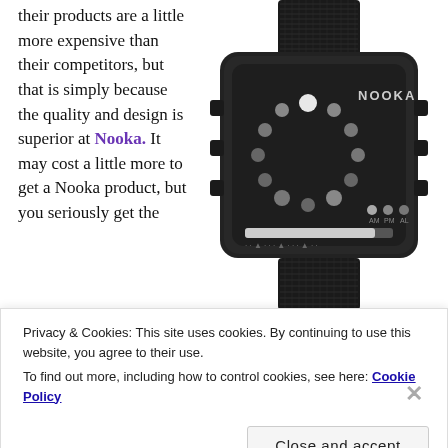their products are a little more expensive than their competitors, but that is simply because the quality and design is superior at Nooka. It may cost a little more to get a Nooka product, but you seriously get the
[Figure (photo): A black Nooka brand digital watch with mesh metal band. The watch face is black with circular dot display indicators arranged in a circular pattern, showing NOOKA branding and AM/PM/AL indicators.]
Privacy & Cookies: This site uses cookies. By continuing to use this website, you agree to their use. To find out more, including how to control cookies, see here: Cookie Policy
Close and accept